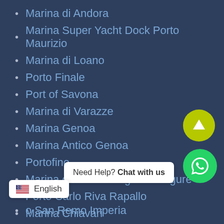Marina di Andora
Marina Super Yacht Dock Porto Maurizio
Marina di Loano
Porto Finale
Port of Savona
Marina di Varazze
Marina Genoa
Marina Antico Genoa
Portofino
Marina di Santa Margherita Ligure
Porto Carlo Riva Rapallo
Marina Chiavari
Marina di Lavagna
o San Remo Imperia
Need Help? Chat with us
English